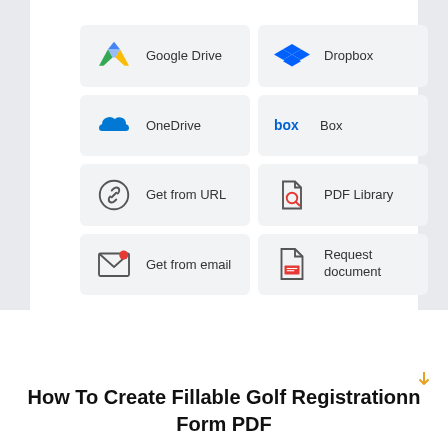[Figure (screenshot): A 2x4 grid of cloud storage and document source options: Google Drive, Dropbox, OneDrive, Box, Get from URL, PDF Library, Get from email, Request document. Each cell shows an icon and a label on a light gray rounded rectangle background.]
How To Create Fillable Golf Registration Form PDF